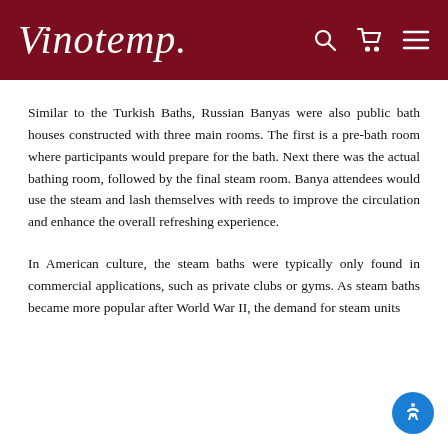Vinotemp
Similar to the Turkish Baths, Russian Banyas were also public bath houses constructed with three main rooms. The first is a pre-bath room where participants would prepare for the bath. Next there was the actual bathing room, followed by the final steam room. Banya attendees would use the steam and lash themselves with reeds to improve the circulation and enhance the overall refreshing experience.
In American culture, the steam baths were typically only found in commercial applications, such as private clubs or gyms. As steam baths became more popular after World War II, the demand for steam units